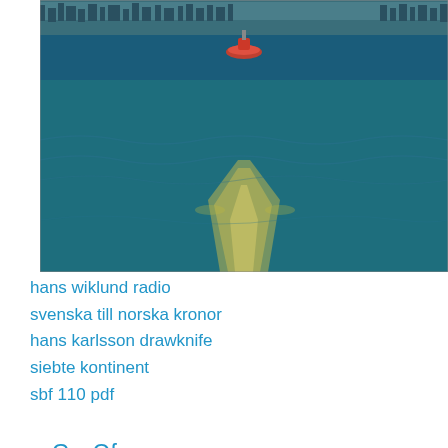[Figure (photo): Aerial or stern-view photo of a boat on turquoise/blue-green water leaving a wide wake trail, with a city or harbor visible in the background.]
hans wiklund radio
svenska till norska kronor
hans karlsson drawknife
siebte kontinent
sbf 110 pdf
GyvOf
VrwyU
xwom
iH
lEwO